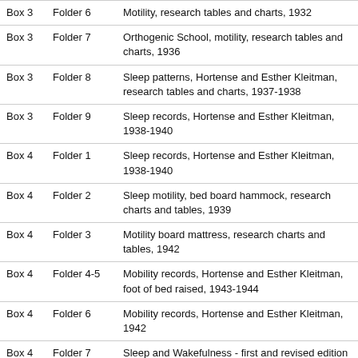| Box | Folder | Description |
| --- | --- | --- |
| Box 3 | Folder 6 | Motility, research tables and charts, 1932 |
| Box 3 | Folder 7 | Orthogenic School, motility, research tables and charts, 1936 |
| Box 3 | Folder 8 | Sleep patterns, Hortense and Esther Kleitman, research tables and charts, 1937-1938 |
| Box 3 | Folder 9 | Sleep records, Hortense and Esther Kleitman, 1938-1940 |
| Box 4 | Folder 1 | Sleep records, Hortense and Esther Kleitman, 1938-1940 |
| Box 4 | Folder 2 | Sleep motility, bed board hammock, research charts and tables, 1939 |
| Box 4 | Folder 3 | Motility board mattress, research charts and tables, 1942 |
| Box 4 | Folder 4-5 | Mobility records, Hortense and Esther Kleitman, foot of bed raised, 1943-1944 |
| Box 4 | Folder 6 | Mobility records, Hortense and Esther Kleitman, 1942 |
| Box 4 | Folder 7 | Sleep and Wakefulness - first and revised edition - advertisements and reviews, 1938-1962 |
| Box 4 | Folder 8 | Sleep and Wakefulness, handwritten manuscript, chapters 1-21, undated |
| Box 4 | Folder 9 | Sleep and Wakefulness, handwritten manuscript, chapters 22-36, undated |
| Box 5 | Folder 1-3 | Sleep and Wakefulness, typed manuscript, edited, bibliography and author index, undated |